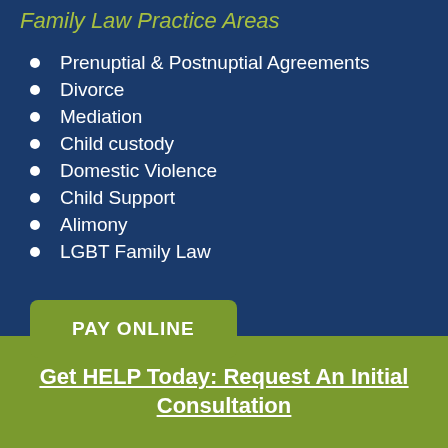Family Law Practice Areas
Prenuptial & Postnuptial Agreements
Divorce
Mediation
Child custody
Domestic Violence
Child Support
Alimony
LGBT Family Law
PAY ONLINE
Get HELP Today: Request An Initial Consultation